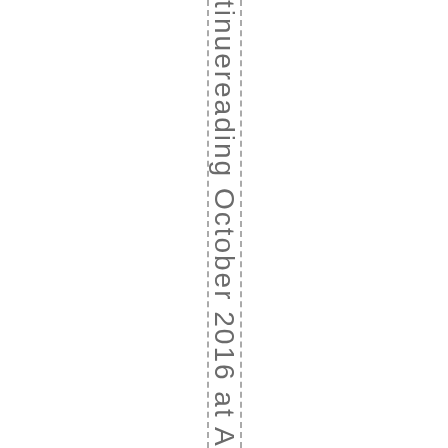tinuereading October 2016 at A